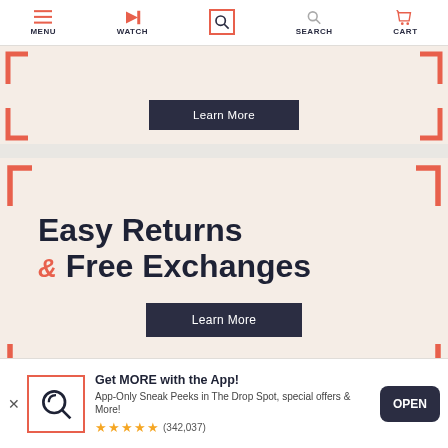MENU | WATCH | SEARCH | CART
[Figure (screenshot): Top navigation bar with MENU, WATCH, SEARCH (active/highlighted), SEARCH, CART icons]
[Figure (infographic): Partial top banner with coral bracket corners and Learn More button]
Easy Returns & Free Exchanges
[Figure (infographic): Main promotional banner: Easy Returns & Free Exchanges with coral bracket corners and Learn More button]
[Figure (illustration): Price tag icon in gray section]
Stay in Touch
Get MORE with the App!
App-Only Sneak Peeks in The Drop Spot, special offers & More!
★★★★★ (342,037)